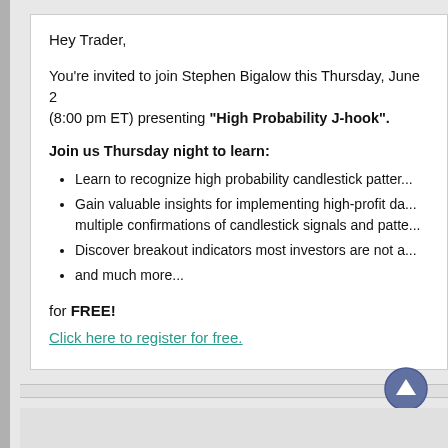Hey Trader,
You're invited to join Stephen Bigalow this Thursday, June 2 (8:00 pm ET) presenting "High Probability J-hook".
Join us Thursday night to learn:
Learn to recognize high probability candlestick patterns
Gain valuable insights for implementing high-profit day multiple confirmations of candlestick signals and patterns
Discover breakout indicators most investors are not a
and much more...
for FREE!
Click here to register for free.